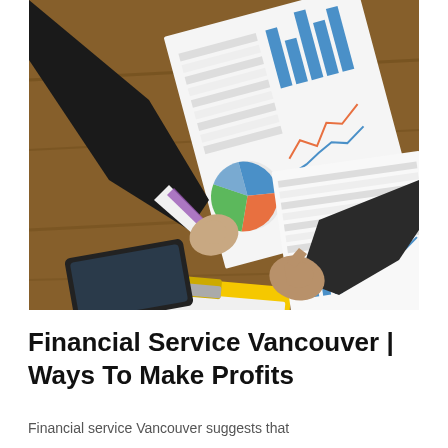[Figure (photo): Overhead view of two people in business attire reviewing financial charts and graphs on a wooden table. Documents show bar charts, pie charts, and line graphs in blue and orange. A yellow clipboard and a mobile phone are also visible on the table.]
Financial Service Vancouver | Ways To Make Profits
Financial service Vancouver suggests that